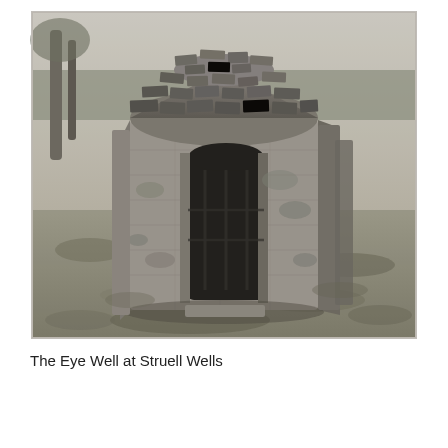[Figure (photo): Black and white / sepia-toned photograph of a small ancient stone well house with a rounded stone roof and a dark doorway opening. The structure is made of rough-cut stone and sits in a grassy outdoor setting with trees visible in the background. This is the Eye Well at Struell Wells.]
The Eye Well at Struell Wells